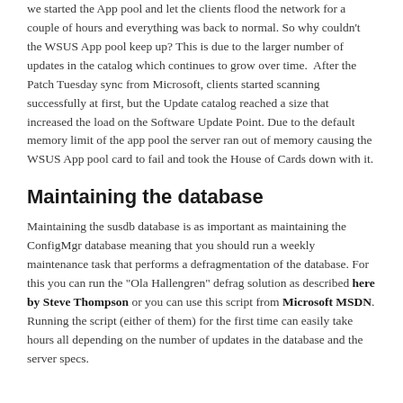we started the App pool and let the clients flood the network for a couple of hours and everything was back to normal. So why couldn't the WSUS App pool keep up? This is due to the larger number of updates in the catalog which continues to grow over time.  After the Patch Tuesday sync from Microsoft, clients started scanning successfully at first, but the Update catalog reached a size that increased the load on the Software Update Point. Due to the default memory limit of the app pool the server ran out of memory causing the WSUS App pool card to fail and took the House of Cards down with it.
Maintaining the database
Maintaining the susdb database is as important as maintaining the ConfigMgr database meaning that you should run a weekly maintenance task that performs a defragmentation of the database. For this you can run the "Ola Hallengren" defrag solution as described here by Steve Thompson or you can use this script from Microsoft MSDN. Running the script (either of them) for the first time can easily take hours all depending on the number of updates in the database and the server specs.